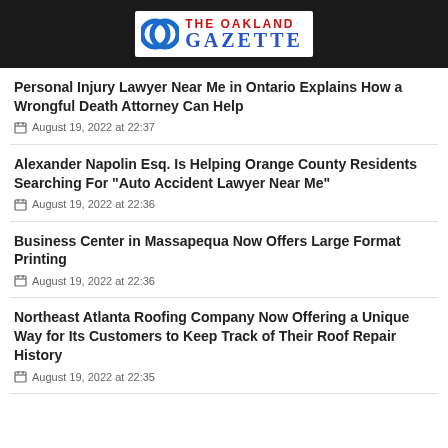THE OAKLAND GAZETTE
Personal Injury Lawyer Near Me in Ontario Explains How a Wrongful Death Attorney Can Help
August 19, 2022 at 22:37
Alexander Napolin Esq. Is Helping Orange County Residents Searching For "Auto Accident Lawyer Near Me"
August 19, 2022 at 22:36
Business Center in Massapequa Now Offers Large Format Printing
August 19, 2022 at 22:36
Northeast Atlanta Roofing Company Now Offering a Unique Way for Its Customers to Keep Track of Their Roof Repair History
August 19, 2022 at 22:35